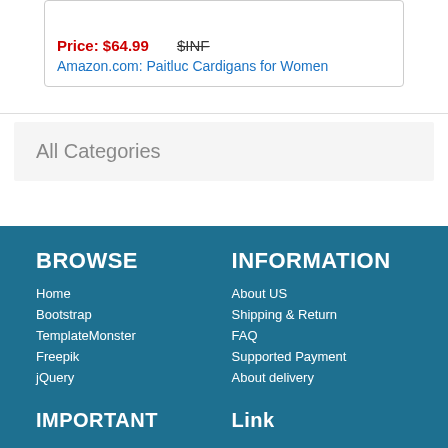Price: $64.99  $INF
Amazon.com: Paitluc Cardigans for Women
All Categories
BROWSE
Home
Bootstrap
TemplateMonster
Freepik
jQuery
INFORMATION
About US
Shipping & Return
FAQ
Supported Payment
About delivery
IMPORTANT
Link